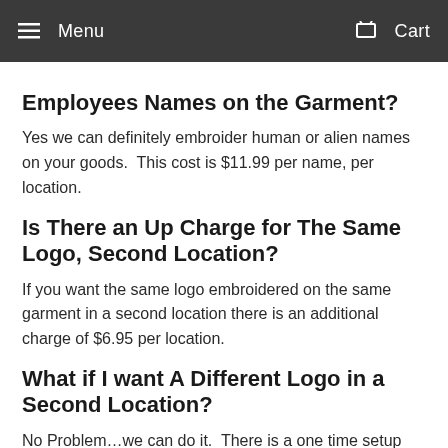Menu   Cart
Employees Names on the Garment?
Yes we can definitely embroider human or alien names on your goods.  This cost is $11.99 per name, per location.
Is There an Up Charge for The Same Logo, Second Location?
If you want the same logo embroidered on the same garment in a second location there is an additional charge of $6.95 per location.
What if I want A Different Logo in a Second Location?
No Problem…we can do it.  There is a one time setup